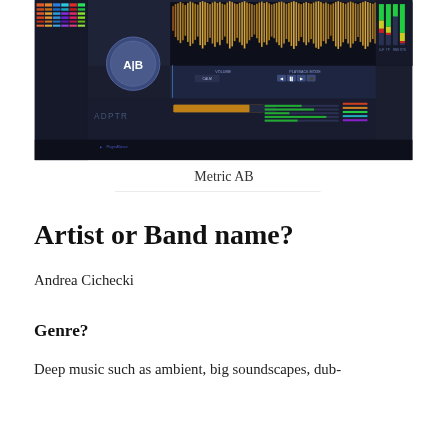[Figure (screenshot): Screenshot of ADPTR Metric AB plugin interface showing waveform display with orange audio waveform, AB comparison buttons, volume and playback mode controls, and colorful track mixer on the left side]
Metric AB
Artist or Band name?
Andrea Cichecki
Genre?
Deep music such as ambient, big soundscapes, dub-